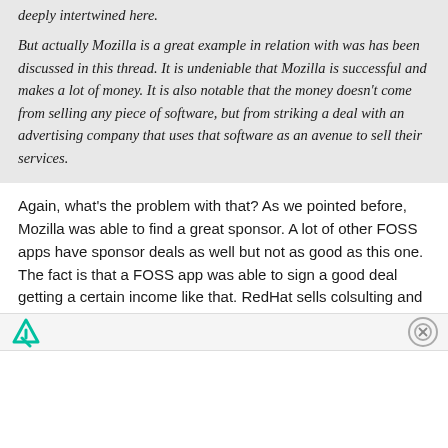deeply intertwined here.
But actually Mozilla is a great example in relation with was has been discussed in this thread. It is undeniable that Mozilla is successful and makes a lot of money. It is also notable that the money doesn't come from selling any piece of software, but from striking a deal with an advertising company that uses that software as an avenue to sell their services.
Again, what's the problem with that? As we pointed before, Mozilla was able to find a great sponsor. A lot of other FOSS apps have sponsor deals as well but not as good as this one. The fact is that a FOSS app was able to sign a good deal getting a certain income like that. RedHat sells colsulting and support etc
It's obvious that there are ways for FOSS to get income.